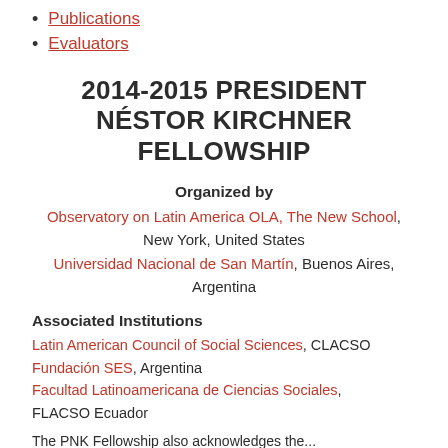Publications
Evaluators
2014-2015 PRESIDENT NÉSTOR KIRCHNER FELLOWSHIP
Organized by
Observatory on Latin America OLA, The New School, New York, United States
Universidad Nacional de San Martín, Buenos Aires, Argentina
Associated Institutions
Latin American Council of Social Sciences, CLACSO
Fundación SES, Argentina
Facultad Latinoamericana de Ciencias Sociales, FLACSO Ecuador
The PNK Fellowship also acknowledges the...